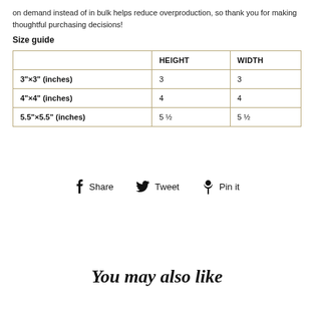on demand instead of in bulk helps reduce overproduction, so thank you for making thoughtful purchasing decisions!
Size guide
|  | HEIGHT | WIDTH |
| --- | --- | --- |
| 3"×3" (inches) | 3 | 3 |
| 4"×4" (inches) | 4 | 4 |
| 5.5"×5.5" (inches) | 5 ½ | 5 ½ |
Share   Tweet   Pin it
You may also like